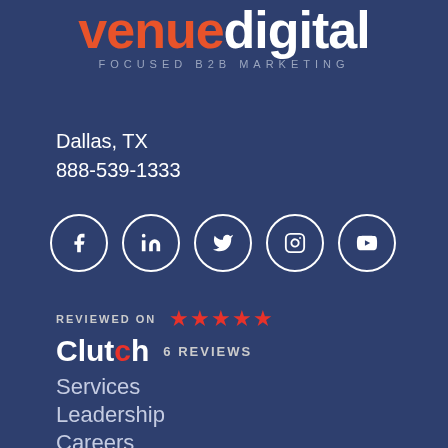[Figure (logo): Venue Digital logo with orange 'venue' text and white 'digital' text, tagline 'FOCUSED B2B MARKETING']
Dallas, TX
888-539-1333
[Figure (illustration): Five social media icons in white circles: Facebook, LinkedIn, Twitter, Instagram, YouTube]
REVIEWED ON ★★★★★ Clutch 6 REVIEWS
Services
Leadership
Careers